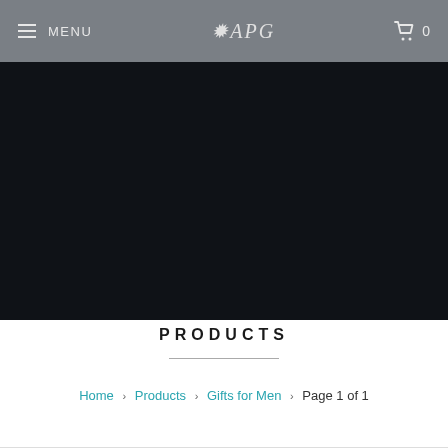≡ MENU  APG  🛒 0
[Figure (photo): Dark hero banner image with near-black background]
PRODUCTS
Home › Products › Gifts for Men › Page 1 of 1